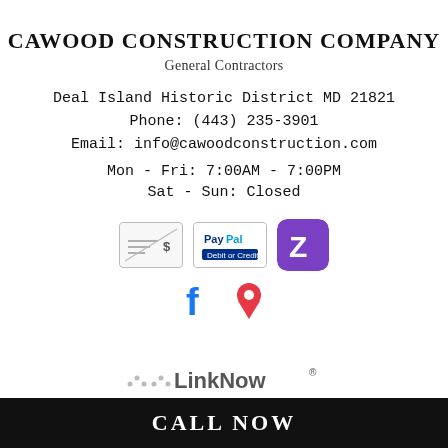CAWOOD CONSTRUCTION COMPANY
General Contractors
Deal Island Historic District MD 21821
Phone: (443) 235-3901
Email: info@cawoodconstruction.com
Mon - Fri: 7:00AM - 7:00PM
Sat - Sun: Closed
[Figure (logo): Payment method icons: check/money order icon, PayPal logo, Zelle purple icon with Z]
[Figure (logo): Social media icons: Facebook f logo and map pin location icon]
[Figure (logo): LinkNow brand logo with decorative dot pattern and registered trademark symbol]
CALL NOW